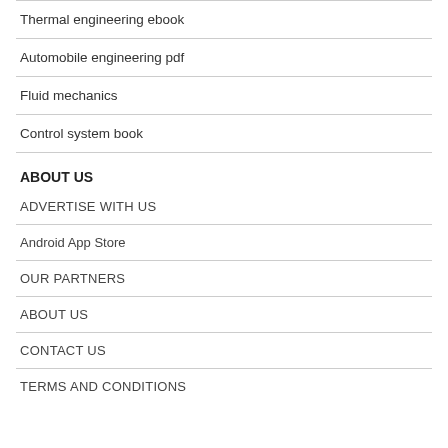Thermal engineering ebook
Automobile engineering pdf
Fluid mechanics
Control system book
ABOUT US
ADVERTISE WITH US
Android App Store
OUR PARTNERS
ABOUT US
CONTACT US
TERMS AND CONDITIONS